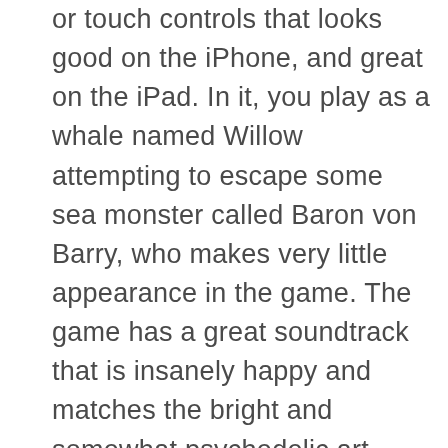or touch controls that looks good on the iPhone, and great on the iPad. In it, you play as a whale named Willow attempting to escape some sea monster called Baron von Barry, who makes very little appearance in the game. The game has a great soundtrack that is insanely happy and matches the bright and somewhat psychedelic art. Beware, it will get stuck in your head - but I didn't mind. Net result - a great way to spend a buck. I've moved on, but I still come back to this one every so often - and my daughter and wife like it too which is extremely rare).
[Figure (illustration): App icon showing a cartoon character wearing a red Santa hat with yellow/gold coloring, against a teal/blue background with colorful Christmas lights along the edges.]